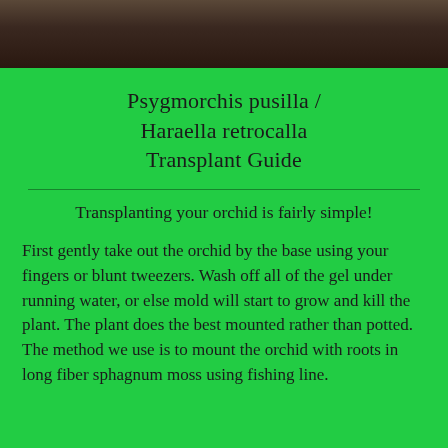[Figure (photo): Top portion of a photo showing a dark brown/wooden background, partially cropped]
Psygmorchis pusilla / Haraella retrocalla Transplant Guide
Transplanting your orchid is fairly simple!
First gently take out the orchid by the base using your fingers or blunt tweezers. Wash off all of the gel under running water, or else mold will start to grow and kill the plant. The plant does the best mounted rather than potted. The method we use is to mount the orchid with roots in long fiber sphagnum moss using fishing line.